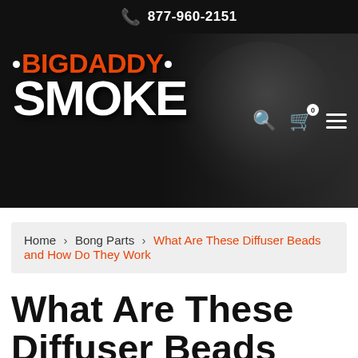📞 877-960-2151
[Figure (logo): Big Daddy Smoke logo with stylized text on dark hero banner background with navigation icons (search, cart with 0 badge, hamburger menu)]
Home › Bong Parts › What Are These Diffuser Beads and How Do They Work
What Are These Diffuser Beads and